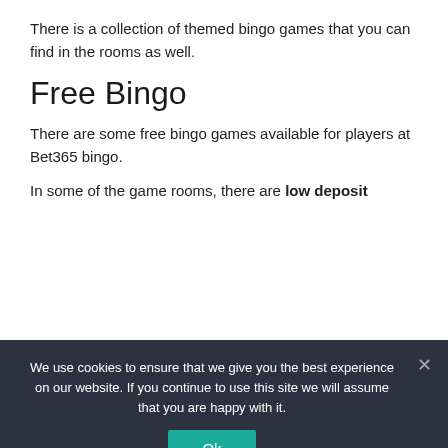There is a collection of themed bingo games that you can find in the rooms as well.
Free Bingo
There are some free bingo games available for players at Bet365 bingo.
In some of the game rooms, there are low deposit
We use cookies to ensure that we give you the best experience on our website. If you continue to use this site we will assume that you are happy with it.
Ok
Best Bingo Sites | New Bingo Sites | Free Bingo Sites | Mobile Bingo Sites